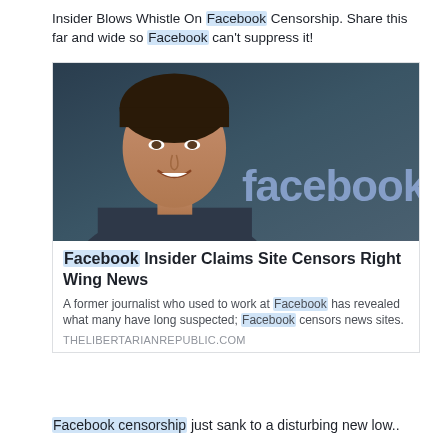Insider Blows Whistle On Facebook Censorship. Share this far and wide so Facebook can't suppress it!
[Figure (photo): Photo of Mark Zuckerberg smiling in front of a Facebook logo backdrop]
Facebook Insider Claims Site Censors Right Wing News
A former journalist who used to work at Facebook has revealed what many have long suspected; Facebook censors news sites.
THELIBERTARIANREPUBLIC.COM
Facebook censorship just sank to a disturbing new low..